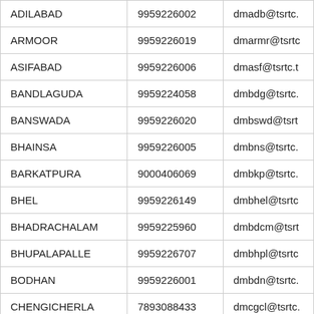| ADILABAD | 9959226002 | dmadb@tsrtc. |
| ARMOOR | 9959226019 | dmarmr@tsrtc |
| ASIFABAD | 9959226006 | dmasf@tsrtc.t |
| BANDLAGUDA | 9959224058 | dmbdg@tsrtc. |
| BANSWADA | 9959226020 | dmbswd@tsrt |
| BHAINSA | 9959226005 | dmbns@tsrtc. |
| BARKATPURA | 9000406069 | dmbkp@tsrtc. |
| BHEL | 9959226149 | dmbhel@tsrtc |
| BHADRACHALAM | 9959225960 | dmbdcm@tsrt |
| BHUPALAPALLE | 9959226707 | dmbhpl@tsrtc |
| BODHAN | 9959226001 | dmbdn@tsrtc. |
| CHENGICHERLA | 7893088433 | dmcgcl@tsrtc. |
| CONTONMENT | 9959226142 | dmcnt@tsrtc. |